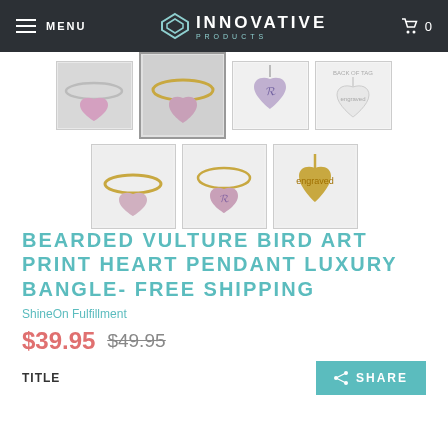MENU | INNOVATIVE PRODUCTS | Cart 0
[Figure (photo): Product thumbnail images of a heart pendant luxury bangle bracelet in multiple styles: silver bangle with pink heart charm, gold bangle with pink heart charm, silver heart charm close-up, back of pendant, gold bangle, gold bangle with pink heart, gold heart pendant]
BEARDED VULTURE BIRD ART PRINT HEART PENDANT LUXURY BANGLE- FREE SHIPPING
ShineOn Fulfillment
$39.95 $49.95
TITLE
SHARE